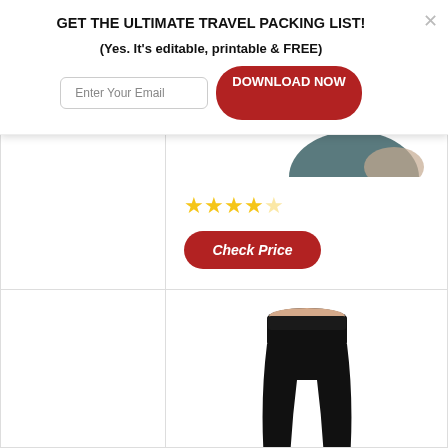GET THE ULTIMATE TRAVEL PACKING LIST!
(Yes. It's editable, printable & FREE)
[Figure (screenshot): Email input field with placeholder 'Enter Your Email' and a red 'DOWNLOAD NOW' button]
[Figure (photo): Partial torso of person wearing dark teal/grey top, cropped at top of grid]
[Figure (infographic): 4 out of 5 gold stars rating display]
[Figure (screenshot): Red rounded 'Check Price' button]
[Figure (photo): Person wearing black leggings, shown from waist to feet, on white background]